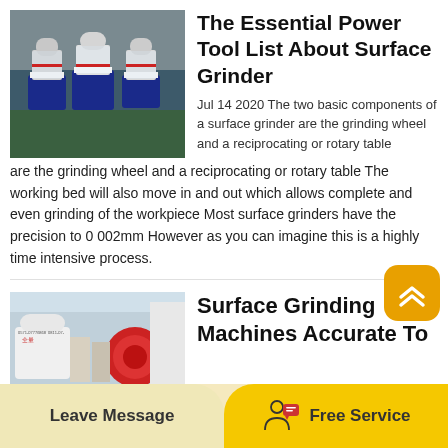[Figure (photo): Industrial grinding machines wrapped in plastic on blue bases in a warehouse]
The Essential Power Tool List About Surface Grinder
Jul 14 2020 The two basic components of a surface grinder are the grinding wheel and a reciprocating or rotary table The working bed will also move in and out which allows complete and even grinding of the workpiece Most surface grinders have the precision to 0 002mm However as you can imagine this is a highly time intensive process.
[Figure (photo): Red and white surface grinding machines in outdoor industrial setting]
Surface Grinding Machines Accurate To